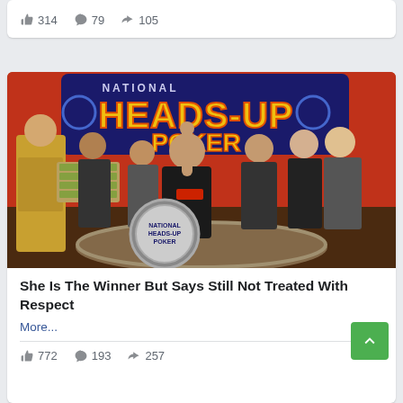314  79  105
[Figure (photo): Group photo at National Heads-Up Poker championship. A woman in the center raises her fist in victory. A person dressed as a Roman gladiator holds a tray of cash on the left. Several people stand behind them in front of a red backdrop with 'National Heads-Up Poker' signage. A National Heads-Up Poker logo disc is visible on the table.]
She Is The Winner But Says Still Not Treated With Respect
More...
772  193  257